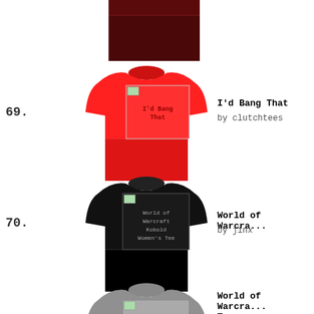[Figure (photo): Dark maroon/burgundy t-shirt (partial, top cropped) shown at top of page]
69.
[Figure (photo): Red t-shirt with 'I'd Bang That' graphic, shown front view]
I'd Bang That
by clutchtees
70.
[Figure (photo): Black t-shirt with 'World of Warcraft Kobold Women's Tee' graphic, shown front view]
World of Warcra...
by jinx
[Figure (photo): Gray t-shirt (partial, bottom cropped) shown at bottom of page]
World of Warcra... Tee